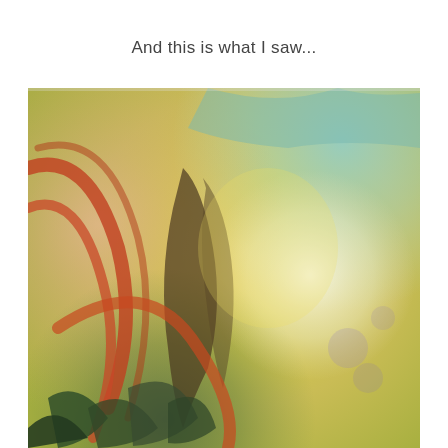And this is what I saw...
[Figure (illustration): Abstract painting with soft, blended colors — yellows, reds, greens, and blues — suggesting flowing forms, possibly an angelic or nature figure, rendered in impressionistic style.]